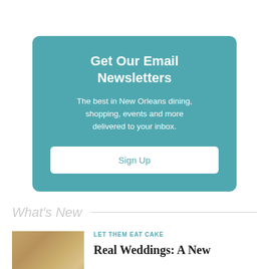[Figure (infographic): Teal rounded-rectangle newsletter signup box with title 'Get Our Email Newsletters', body text about New Orleans content, and a white 'Sign Up' button.]
What's New
LET THEM EAT CAKE
Real Weddings: A New